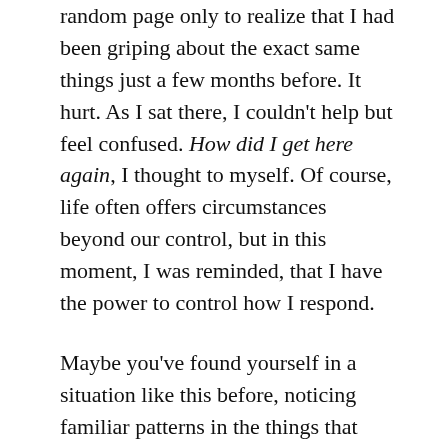random page only to realize that I had been griping about the exact same things just a few months before. It hurt. As I sat there, I couldn't help but feel confused. How did I get here again, I thought to myself. Of course, life often offers circumstances beyond our control, but in this moment, I was reminded, that I have the power to control how I respond.
Maybe you've found yourself in a situation like this before, noticing familiar patterns in the things that distract, discourage, and bring you down. This is the kind of spiritual deja vu I'm talking about. So, how do we move forward? How do we face life's challenges without allowing them to repeatedly bring us down?  To find out, I turned to Scripture, and Gospel music.
There's a popular Gospel song out right now called Cycles. It's all about recognizing the disruptive